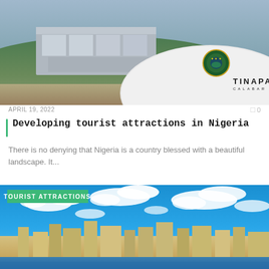[Figure (photo): Aerial/ground view of Tinapa Calabar complex with buildings, green hillside, and a large white dome structure with the Tinapa Calabar logo and text]
APRIL 19, 2022
0
Developing tourist attractions in Nigeria
There is no denying that Nigeria is a country blessed with a beautiful landscape. It...
[Figure (photo): Cityscape photo of a Nigerian coastal city skyline under a bright blue sky with white clouds, labeled TOURIST ATTRACTIONS]